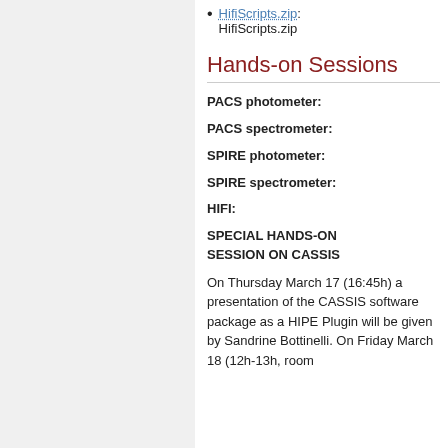HifiScripts.zip: HifiScripts.zip
Hands-on Sessions
PACS photometer:
PACS spectrometer:
SPIRE photometer:
SPIRE spectrometer:
HIFI:
SPECIAL HANDS-ON SESSION ON CASSIS
On Thursday March 17 (16:45h) a presentation of the CASSIS software package as a HIPE Plugin will be given by Sandrine Bottinelli. On Friday March 18 (12h-13h, room...